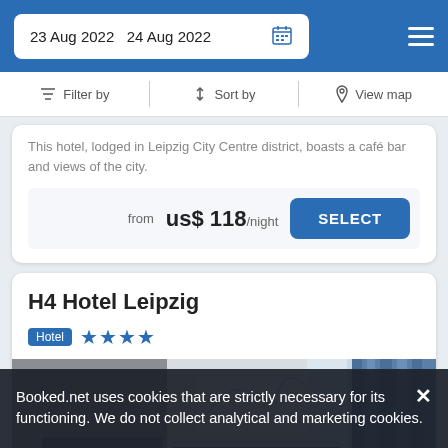23 Aug 2022  24 Aug 2022
Filter by  Sort by  View map
This hotel, lodged in Leipzig City Centre district, boasts a café bar and views of the city.
from us$ 118/night  SELECT
H4 Hotel Leipzig
Hotel  ★★★★
[Figure (photo): Hotel room interior with grey walls, decorative artwork, and blue curtains]
Booked.net uses cookies that are strictly necessary for its functioning. We do not collect analytical and marketing cookies.